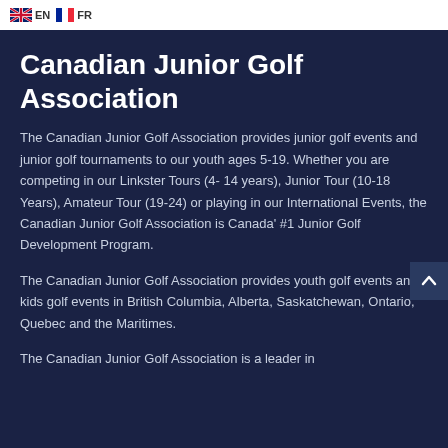EN  FR
Canadian Junior Golf Association
The Canadian Junior Golf Association provides junior golf events and junior golf tournaments to our youth ages 5-19. Whether you are competing in our Linkster Tours (4- 14 years), Junior Tour (10-18 Years), Amateur Tour (19-24) or playing in our International Events, the Canadian Junior Golf Association is Canada’ #1 Junior Golf Development Program.
The Canadian Junior Golf Association provides youth golf events and kids golf events in British Columbia, Alberta, Saskatchewan, Ontario, Quebec and the Maritimes.
The Canadian Junior Golf Association is a leader in junior Competition Events...